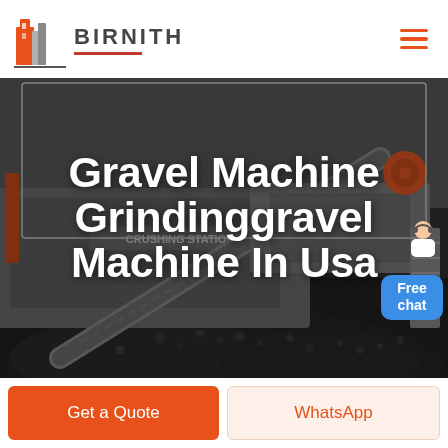[Figure (logo): Birnith company logo with orange/red building icon and BIRNITH text with red underline]
BIRNITH
[Figure (photo): Industrial crushing station machinery with gravel/aggregate, dark industrial scene with orange equipment]
[Figure (infographic): Free chat button with customer service representative icon, blue rounded rectangle button]
Gravel Machine Grindinggravel Machine In Usa
Get a Quote
WhatsApp